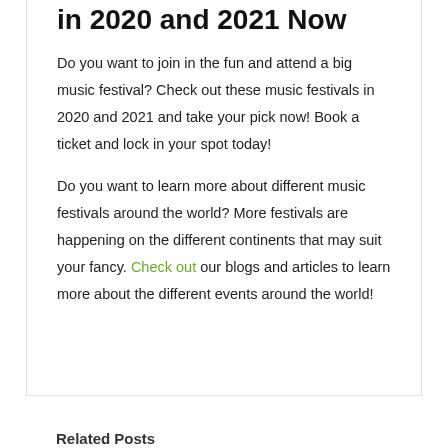in 2020 and 2021 Now
Do you want to join in the fun and attend a big music festival? Check out these music festivals in 2020 and 2021 and take your pick now! Book a ticket and lock in your spot today!
Do you want to learn more about different music festivals around the world? More festivals are happening on the different continents that may suit your fancy. Check out our blogs and articles to learn more about the different events around the world!
Related Posts